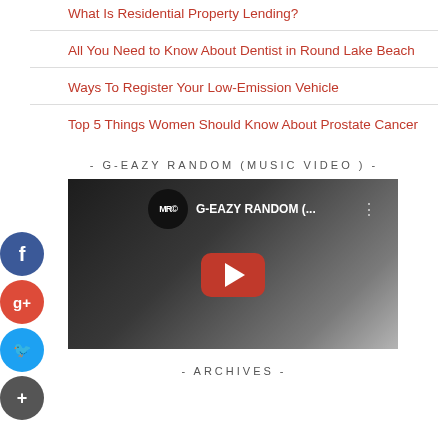What Is Residential Property Lending?
All You Need to Know About Dentist in Round Lake Beach
Ways To Register Your Low-Emission Vehicle
Top 5 Things Women Should Know About Prostate Cancer
- G-EAZY RANDOM (MUSIC VIDEO ) -
[Figure (screenshot): YouTube video thumbnail for G-EAZY RANDOM music video, showing video title bar with channel icon and G-EAZY RANDOM (... title, a red YouTube play button in the center, and a dark monochrome background]
- ARCHIVES -